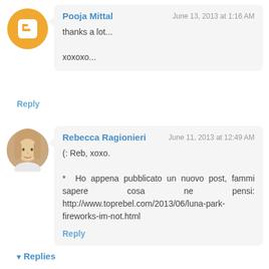[Figure (illustration): Blogger orange logo icon - circle with B letter]
Pooja Mittal
June 13, 2013 at 1:16 AM
thanks a lot...

xoxoxo...
Reply
[Figure (photo): Profile photo of Rebecca Ragionieri - young woman]
Rebecca Ragionieri
June 11, 2013 at 12:49 AM
(: Reb, xoxo.

* Ho appena pubblicato un nuovo post, fammi sapere cosa ne pensi: http://www.toprebel.com/2013/06/luna-park-fireworks-im-not.html
Reply
▾ Replies